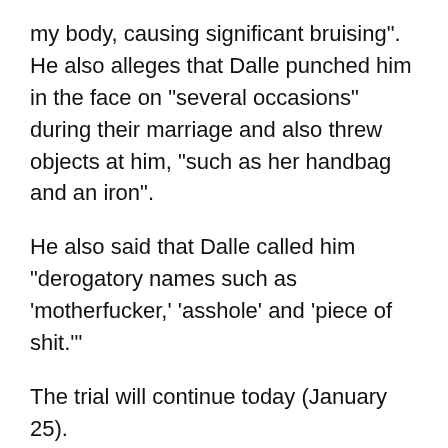my body, causing significant bruising". He also alleges that Dalle punched him in the face on “several occasions” during their marriage and also threw objects at him, “such as her handbag and an iron”.
He also said that Dalle called him “derogatory names such as ‘motherfucker,’ ‘asshole’ and ‘piece of shit.’”
The trial will continue today (January 25).
Earlier this month, Dalle’s current partner Gunner Foxx alleged that Homme threatened his life during a “terrifying” altercation on Christmas Eve.